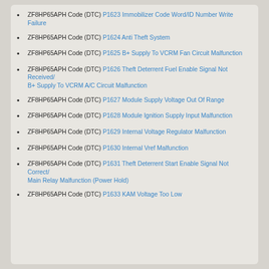ZF8HP65APH Code (DTC) P1623 Immobilizer Code Word/ID Number Write Failure
ZF8HP65APH Code (DTC) P1624 Anti Theft System
ZF8HP65APH Code (DTC) P1625 B+ Supply To VCRM Fan Circuit Malfunction
ZF8HP65APH Code (DTC) P1626 Theft Deterrent Fuel Enable Signal Not Received/ B+ Supply To VCRM A/C Circuit Malfunction
ZF8HP65APH Code (DTC) P1627 Module Supply Voltage Out Of Range
ZF8HP65APH Code (DTC) P1628 Module Ignition Supply Input Malfunction
ZF8HP65APH Code (DTC) P1629 Internal Voltage Regulator Malfunction
ZF8HP65APH Code (DTC) P1630 Internal Vref Malfunction
ZF8HP65APH Code (DTC) P1631 Theft Deterrent Start Enable Signal Not Correct/ Main Relay Malfunction (Power Hold)
ZF8HP65APH Code (DTC) P1633 KAM Voltage Too Low